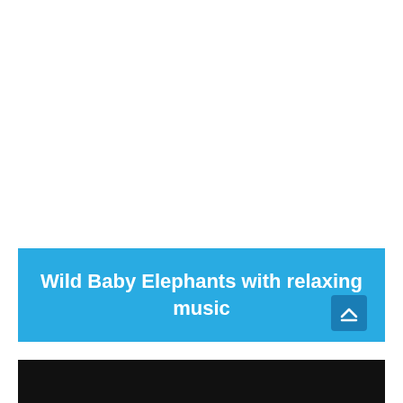Wild Baby Elephants with relaxing music
[Figure (screenshot): Black video thumbnail bar at the bottom of the page]